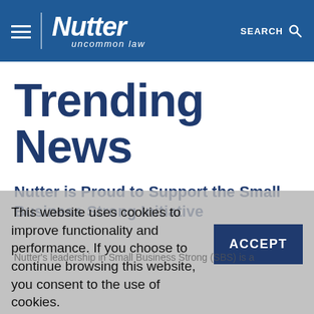Nutter — uncommon law | SEARCH
Trending News
Nutter is Proud to Support the Small Business Strong Initiative
This website uses cookies to improve functionality and performance. If you choose to continue browsing this website, you consent to the use of cookies.
ACCEPT
Nutter's leadership in Small Business Strong (SBS) is a